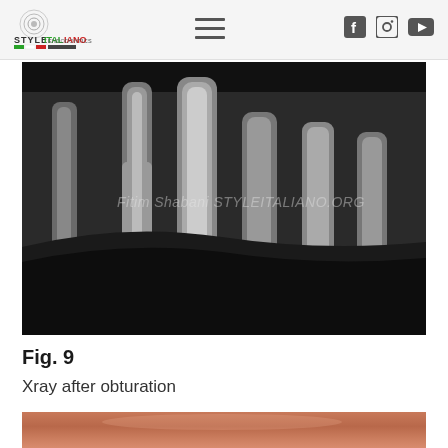Style Italiano Endodontics — navigation header with logo, hamburger menu, and social icons (Facebook, Instagram, YouTube)
[Figure (photo): Dental bitewing X-ray radiograph showing multiple teeth after root canal obturation. Two bright white radiopaque restorations visible on left side (likely amalgam or composite buildups), with root canals visible in the teeth on the right side. Watermark reads: Fitim Shabani STYLEITALIANO.ORG. Black background with oval/circular frame at bottom left.]
Fig. 9
Xray after obturation
[Figure (photo): Partial view of a clinical photograph showing soft tissue (gingival or skin), warm reddish-pink tones, partially cropped at bottom of page.]